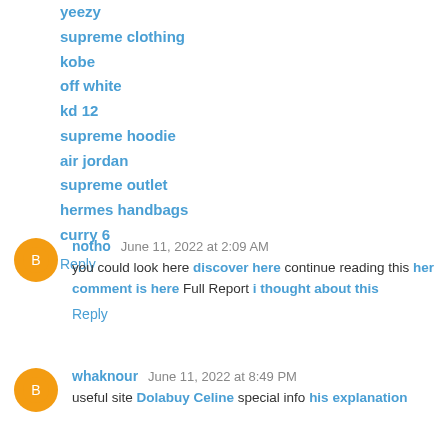yeezy
supreme clothing
kobe
off white
kd 12
supreme hoodie
air jordan
supreme outlet
hermes handbags
curry 6
Reply
notho  June 11, 2022 at 2:09 AM
you could look here discover here continue reading this her comment is here Full Report i thought about this
Reply
whaknour  June 11, 2022 at 8:49 PM
useful site Dolabuy Celine special info his explanation